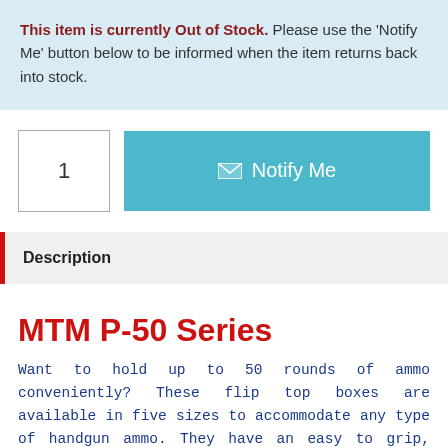This item is currently Out of Stock. Please use the 'Notify Me' button below to be informed when the item returns back into stock.
1
✉ Notify Me
Description
MTM P-50 Series
Want to hold up to 50 rounds of ammo conveniently? These flip top boxes are available in five sizes to accommodate any type of handgun ammo. They have an easy to grip, scuff-resistant textured surface and are stackable. The Snap-Lok latch and full length